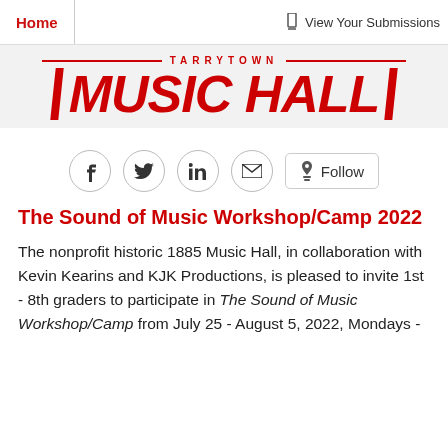Home   View Your Submissions
[Figure (logo): Tarrytown Music Hall logo in red with double horizontal lines and large bold italic text]
[Figure (infographic): Social sharing icons: Facebook, Twitter, LinkedIn, Email circles, and a Follow button]
The Sound of Music Workshop/Camp 2022
The nonprofit historic 1885 Music Hall, in collaboration with Kevin Kearins and KJK Productions, is pleased to invite 1st - 8th graders to participate in The Sound of Music Workshop/Camp from July 25 - August 5, 2022, Mondays -